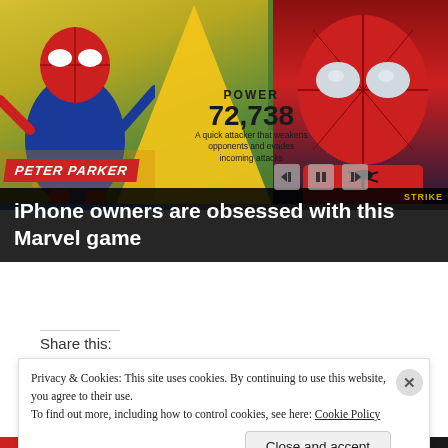[Figure (screenshot): Marvel Strike Force mobile game screenshot showing two Spider-Man characters (Peter Parker cartoon on left, realistic Spider-Man on right) with yellow background, displaying POWER 72,738 text and description 'A quick attacker that weakens opponents and evades incoming attacks'. Peter Parker label visible. Media playback controls visible at bottom right.]
iPhone owners are obsessed with this Marvel game
Share this:
Privacy & Cookies: This site uses cookies. By continuing to use this website, you agree to their use.
To find out more, including how to control cookies, see here: Cookie Policy
Close and accept